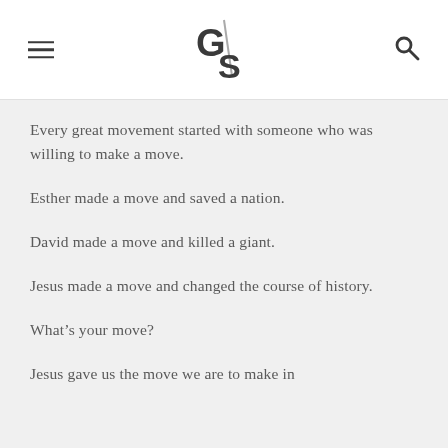G/S
Every great movement started with someone who was willing to make a move.
Esther made a move and saved a nation.
David made a move and killed a giant.
Jesus made a move and changed the course of history.
What's your move?
Jesus gave us the move we are to make in